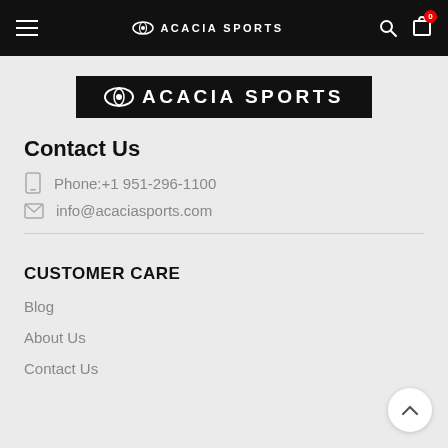ACACIA SPORTS navigation bar with hamburger menu, logo, search and cart icons
[Figure (logo): Acacia Sports logo: eye icon with ACACIA SPORTS text on black background]
Contact Us
Phone:+1 951-296-1100
info@acaciasports.com
CUSTOMER CARE
Blog
About Us
Contact Us